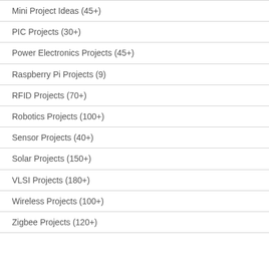Mini Project Ideas (45+)
PIC Projects (30+)
Power Electronics Projects (45+)
Raspberry Pi Projects (9)
RFID Projects (70+)
Robotics Projects (100+)
Sensor Projects (40+)
Solar Projects (150+)
VLSI Projects (180+)
Wireless Projects (100+)
Zigbee Projects (120+)